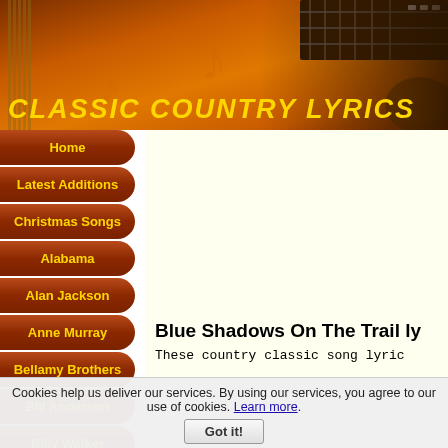[Figure (screenshot): Classic Country Lyrics website header banner with orange/brown gradient background, guitar image top right, musical note decorations, and 'CLASSIC COUNTRY LYRICS' title text in yellow italic bold font]
CLASSIC COUNTRY LYRICS
Home
Latest Additions
Christmas Songs
Alabama
Alan Jackson
Anne Murray
Bellamy Brothers
Bill Anderson
Billy Walker
Bob Wills
Blue Shadows On The Trail ly
These country classic song lyric
Cookies help us deliver our services. By using our services, you agree to our use of cookies. Learn more. Got it!